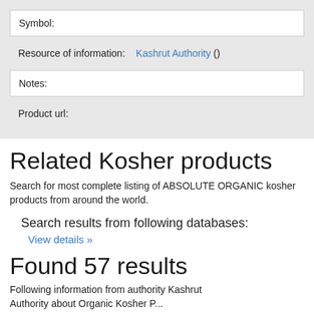Symbol:
Resource of information: Kashrut Authority ()
Notes:
Product url:
Related Kosher products
Search for most complete listing of ABSOLUTE ORGANIC kosher products from around the world.
Search results from following databases:
View details »
Found 57 results
Following information from authority Kashrut Authority about Organic Kosher P...